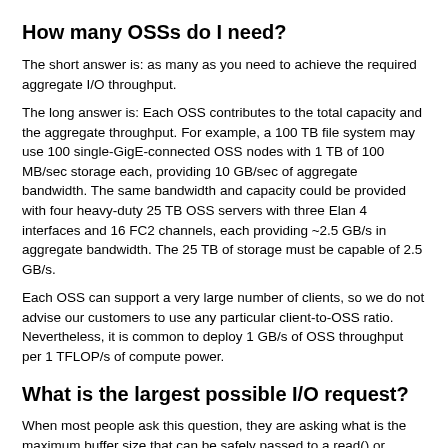How many OSSs do I need?
The short answer is: as many as you need to achieve the required aggregate I/O throughput.
The long answer is: Each OSS contributes to the total capacity and the aggregate throughput. For example, a 100 TB file system may use 100 single-GigE-connected OSS nodes with 1 TB of 100 MB/sec storage each, providing 10 GB/sec of aggregate bandwidth. The same bandwidth and capacity could be provided with four heavy-duty 25 TB OSS servers with three Elan 4 interfaces and 16 FC2 channels, each providing ~2.5 GB/s in aggregate bandwidth. The 25 TB of storage must be capable of 2.5 GB/s.
Each OSS can support a very large number of clients, so we do not advise our customers to use any particular client-to-OSS ratio. Nevertheless, it is common to deploy 1 GB/s of OSS throughput per 1 TFLOP/s of compute power.
What is the largest possible I/O request?
When most people ask this question, they are asking what is the maximum buffer size that can be safely passed to a read() or write() system call. In principle this is limited only by the address space on the client, and we have tested single read() and write() system calls up to 1GB in size, so it has not been an issue in reality.
The largest I/O request is also limited by the product that the real I/O